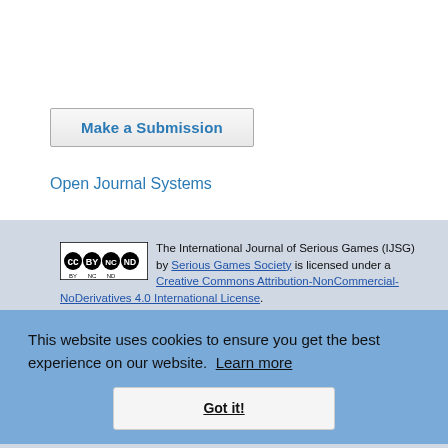[Figure (other): Make a Submission button — a styled button with border]
Open Journal Systems
The International Journal of Serious Games (IJSG) by Serious Games Society is licensed under a Creative Commons Attribution-NonCommercial-NoDerivatives 4.0 International License.
This website uses cookies to ensure you get the best experience on our website. Learn more
Got it!
Open Journal Systems Hosting and Support by: OpenJournalSystems.com